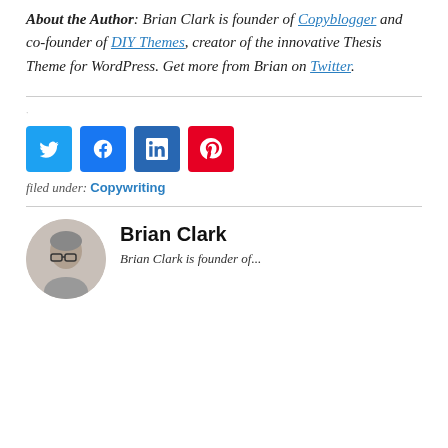About the Author: Brian Clark is founder of Copyblogger and co-founder of DIY Themes, creator of the innovative Thesis Theme for WordPress. Get more from Brian on Twitter.
[Figure (other): Social share buttons: Twitter, Facebook, LinkedIn, Pinterest]
filed under: Copywriting
Brian Clark
Brian Clark is founder of...